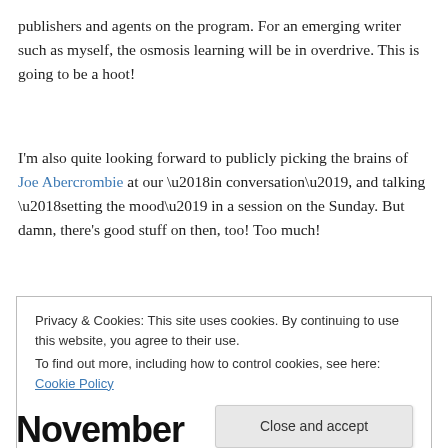publishers and agents on the program. For an emerging writer such as myself, the osmosis learning will be in overdrive. This is going to be a hoot!
I'm also quite looking forward to publicly picking the brains of Joe Abercrombie at our ‘in conversation’, and talking ‘setting the mood’ in a session on the Sunday. But damn, there’s good stuff on then, too! Too much!
Privacy & Cookies: This site uses cookies. By continuing to use this website, you agree to their use.
To find out more, including how to control cookies, see here: Cookie Policy
Close and accept
November